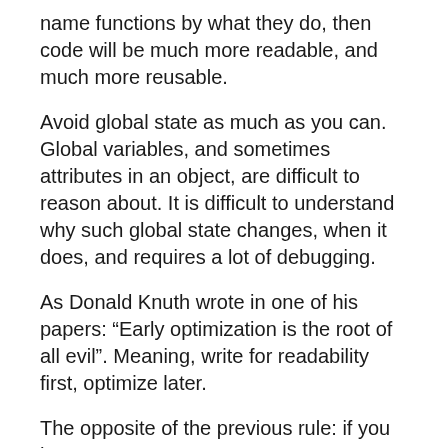name functions by what they do, then code will be much more readable, and much more reusable.
Avoid global state as much as you can. Global variables, and sometimes attributes in an object, are difficult to reason about. It is difficult to understand why such global state changes, when it does, and requires a lot of debugging.
As Donald Knuth wrote in one of his papers: “Early optimization is the root of all evil”. Meaning, write for readability first, optimize later.
The opposite of the previous rule: if you have an